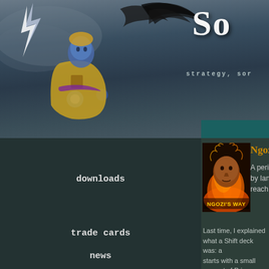[Figure (screenshot): Website header with wizard/sorcerer illustration on left (blue-skinned figure with lightning), dark stormy sky background, large site logo 'So...' (truncated) in top right, tagline 'strategy, sor...' below logo]
So... strategy, sor...
[Figure (illustration): Ngozi's Way column image - portrait of a dark-skinned person with fire/flame effects surrounding them, text 'NGOZI'S WAY' in yellow at bottom]
Ngozi's Way
A periodic column on Sanc... by Ian Schreiber, Sanctum ... reach Ian at ai864@yahoo...
Deck Concept: Despair Shift to War
March 29, 2001
Last time, I explained what a Shift deck was: a... starts with a small amount of Primary mana an... with perhaps a third type splashed in. I mentio... decks where the main House has a strong ear...
downloads
trade cards
news